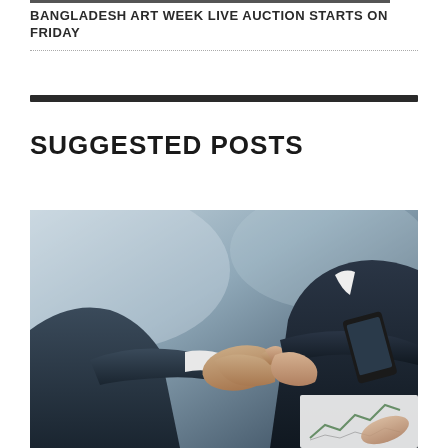BANGLADESH ART WEEK LIVE AUCTION STARTS ON FRIDAY
SUGGESTED POSTS
[Figure (photo): Two business people in suits shaking hands, with one person holding a smartphone and document with a chart visible in the background.]